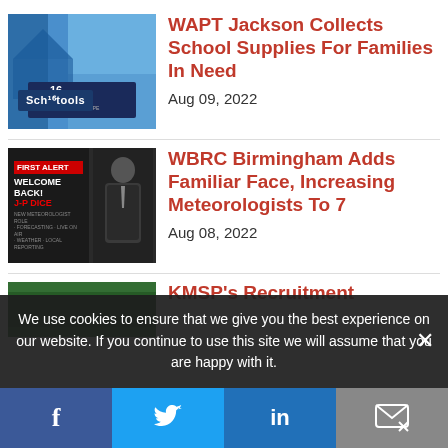[Figure (photo): Two people holding a WAPT school supplies banner in a parking lot with a blue tent in the background]
WAPT Jackson Collects School Supplies For Families In Need
Aug 09, 2022
[Figure (photo): WBRC First Alert Weather welcome back graphic featuring meteorologist J-P Dice]
WBRC Birmingham Adds Familiar Face, Increasing Meteorologists To 7
Aug 08, 2022
[Figure (photo): Partial view of a third news story image - KMSP recruitment]
KMSP's Recruitment
We use cookies to ensure that we give you the best experience on our website. If you continue to use this site we will assume that you are happy with it.